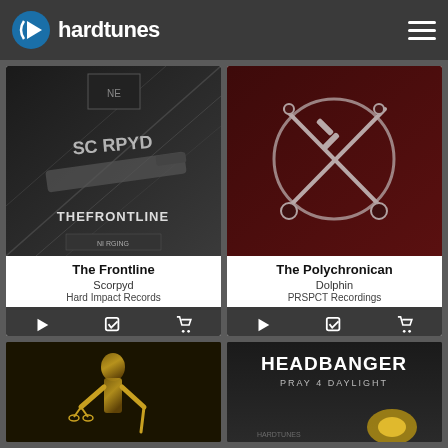hardtunes
[Figure (screenshot): Album cover for The Frontline by Scorpyd — dark industrial image with assault rifle and text 'SCORPYD THE FRONTLINE']
The Frontline
Scorpyd
Hard Impact Records
[Figure (screenshot): Album cover for The Polychronican by Dolphin — dark red/maroon background with crossed swords logo]
The Polychronican
Dolphin
PRSPCT Recordings
[Figure (screenshot): Partial album cover — golden statue figure on dark background]
[Figure (screenshot): Partial album cover — Headbanger Pray 4 Daylight on dark background with hardtunes watermark]